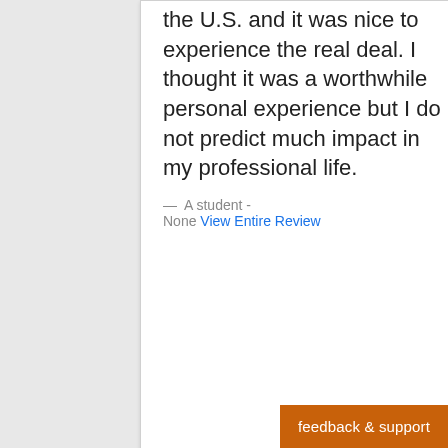the U.S. and it was nice to experience the real deal. I thought it was a worthwhile personal experience but I do not predict much impact in my professional life.
— A student - None View Entire Review
Past Review
Amazing African Musical And Cultural